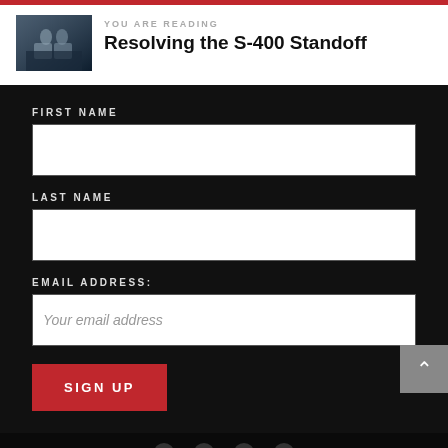[Figure (photo): Thumbnail image of two people at a conference or meeting, dark background with blue tones]
YOU ARE READING
Resolving the S-400 Standoff
FIRST NAME
LAST NAME
EMAIL ADDRESS:
Your email address
SIGN UP